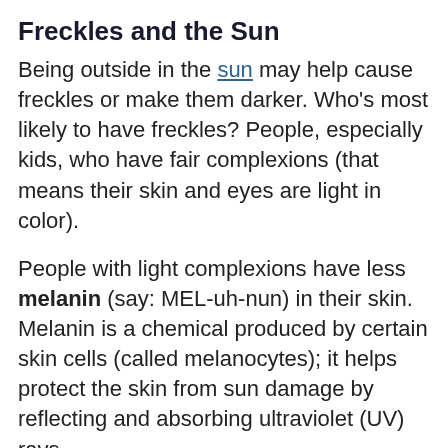Freckles and the Sun
Being outside in the sun may help cause freckles or make them darker. Who's most likely to have freckles? People, especially kids, who have fair complexions (that means their skin and eyes are light in color).
People with light complexions have less melanin (say: MEL-uh-nun) in their skin. Melanin is a chemical produced by certain skin cells (called melanocytes); it helps protect the skin from sun damage by reflecting and absorbing ultraviolet (UV) rays.
The more melanin you have in your skin, the darker your skin color! People with fair skin have less melanin in their skin to begin with, but some of their melanocytes make more melanin when exposed to the sun. So instead of easily getting an even suntan, they